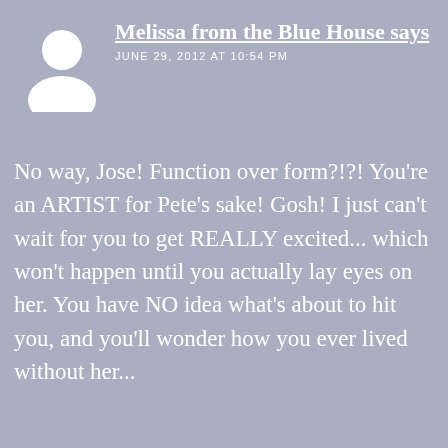[Figure (illustration): White silhouette avatar icon of a generic person (head and shoulders) on grey background]
Melissa from the Blue House says
JUNE 29, 2012 AT 10:54 PM
No way, Jose! Function over form?!?! You&#39;re an ARTIST for Pete&#39;s sake! Gosh! I just can&#39;t wait for you to get REALLY excited... which won&#39;t happen until you actually lay eyes on her. You have NO idea what&#39;s about to hit you, and you&#39;ll wonder how you ever lived without her...